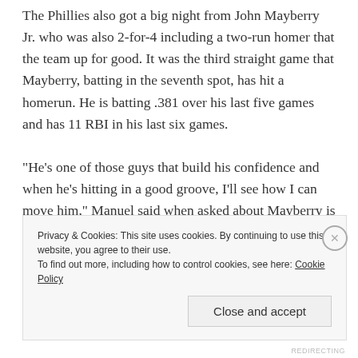The Phillies also got a big night from John Mayberry Jr. who was also 2-for-4 including a two-run homer that the team up for good. It was the third straight game that Mayberry, batting in the seventh spot, has hit a homerun. He is batting .381 over his last five games and has 11 RBI in his last six games.

“He’s one of those guys that build his confidence and when he’s hitting in a good groove, I’ll see how I can move him,” Manuel said when asked about Mayberry is batting in the lineup. “He’s starting to swing very good.On the road, he started swinging good and he
Privacy & Cookies: This site uses cookies. By continuing to use this website, you agree to their use.
To find out more, including how to control cookies, see here: Cookie Policy
Close and accept
REDIRECTING